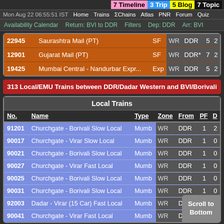7 Timeline 3 Trip 5 Blog 7 Topic
Mon Aug 22 06:55:51 IST   Home   Trains   ΣChains   Atlas   PNR   Forum   Quiz
Availability Calendar   Return: BVI to DDR   Filters   Dep: DDR   Arr: BVI
| No. | Name | Type | Zone | From | PF | D |
| --- | --- | --- | --- | --- | --- | --- |
| 22945 | Saurashtra Mail (PT) | SF | WR | DDR | 5 | 2 |
| 12901 | Gujarat Mail (PT) | SF | WR | DDR* | 7 | 2 |
| 19425 | Mumbai Central - Nandurbar Expr... | Exp | WR | DDR | 5 | 2 |
313 Local/EMU Trains between DDR/Dadar Western and BVI/Borivali
| No. | Name | Type | Zone | From | PF | D |
| --- | --- | --- | --- | --- | --- | --- |
| 91201 | Churchgate - Borivali Slow Local | Mumb | WR | DDR | 1 | 2 |
| 90017 | Churchgate - Virar Slow Local | Mumb | WR | DDR | 1 | 0 |
| 90021 | Churchgate - Borivali Slow Local | Mumb | WR | DDR | 1 | 0 |
| 90027 | Churchgate - Virar Fast Local | Mumb | WR | DDR | 1 | 0 |
| 90025 | Churchgate - Borivali Slow Local | Mumb | WR | DDR | 1 | 0 |
| 90031 | Churchgate - Borivali Slow Local | Mumb | WR | DDR | 1 | 0 |
| 92003 | Dadar - Virar (15 Car) Fast Local | Mumb | WR | DDR |  |  |
| 90041 | Churchgate - Virar Fast Local | Mumb | WR | DDR |  |  |